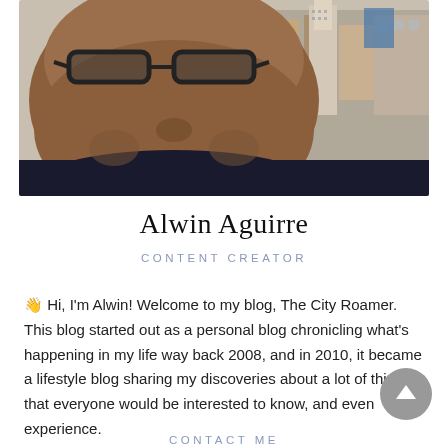[Figure (photo): Selfie photo of Alwin Aguirre (man with glasses) with cityscape aerial view of buildings in the background]
Alwin Aguirre
CONTENT CREATOR
👋 Hi, I'm Alwin! Welcome to my blog, The City Roamer. This blog started out as a personal blog chronicling what's happening in my life way back 2008, and in 2010, it became a lifestyle blog sharing my discoveries about a lot of things that everyone would be interested to know, and even experience.
CONTACT ME